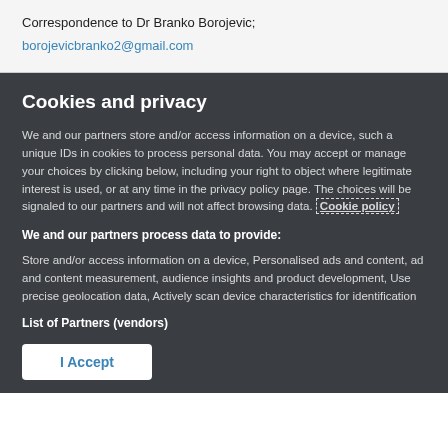Correspondence to Dr Branko Borojevic;
borojevicbranko2@gmail.com
Cookies and privacy
We and our partners store and/or access information on a device, such as unique IDs in cookies to process personal data. You may accept or manage your choices by clicking below, including your right to object where legitimate interest is used, or at any time in the privacy policy page. These choices will be signaled to our partners and will not affect browsing data. Cookie policy
We and our partners process data to provide:
Store and/or access information on a device, Personalised ads and content, ad and content measurement, audience insights and product development, Use precise geolocation data, Actively scan device characteristics for identification
List of Partners (vendors)
I Accept